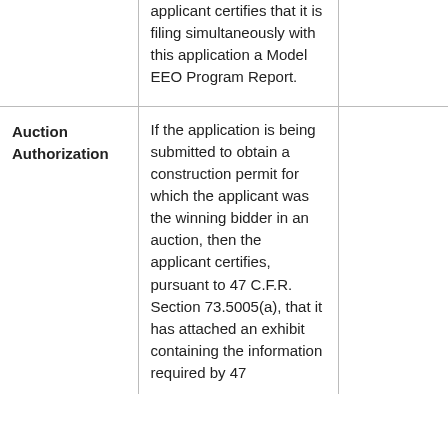|  |  |  |
| --- | --- | --- |
|  | applicant certifies that it is filing simultaneously with this application a Model EEO Program Report. |  |
| Auction Authorization | If the application is being submitted to obtain a construction permit for which the applicant was the winning bidder in an auction, then the applicant certifies, pursuant to 47 C.F.R. Section 73.5005(a), that it has attached an exhibit containing the information required by 47 |  |